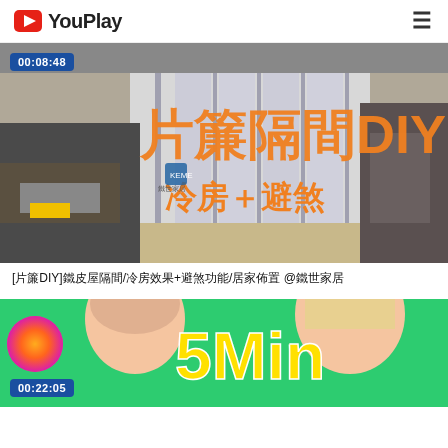YouPlay
[Figure (screenshot): Video thumbnail showing a DIY partition panel in a workshop with Chinese text reading 片簾隔間DIY and 冷房＋避煞, duration badge 00:08:48]
[片簾DIY]鐵皮屋隔間/冷房效果+避煞功能/居家佈置 @鐵世家居
[Figure (screenshot): Video thumbnail showing people's faces on green background with yellow text 5Min, duration badge 00:22:05]